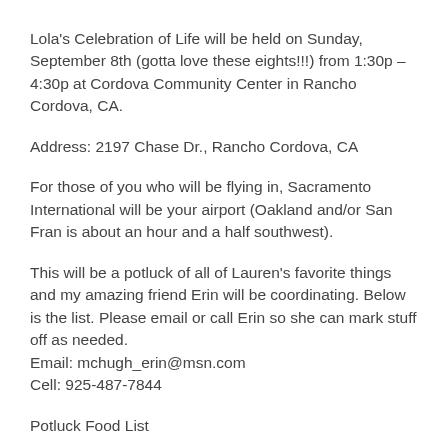Lola's Celebration of Life will be held on Sunday, September 8th (gotta love these eights!!!) from 1:30p – 4:30p at Cordova Community Center in Rancho Cordova, CA.
Address: 2197 Chase Dr., Rancho Cordova, CA
For those of you who will be flying in, Sacramento International will be your airport (Oakland and/or San Fran is about an hour and a half southwest).
This will be a potluck of all of Lauren's favorite things and my amazing friend Erin will be coordinating. Below is the list. Please email or call Erin so she can mark stuff off as needed.
Email: mchugh_erin@msn.com
Cell: 925-487-7844
Potluck Food List